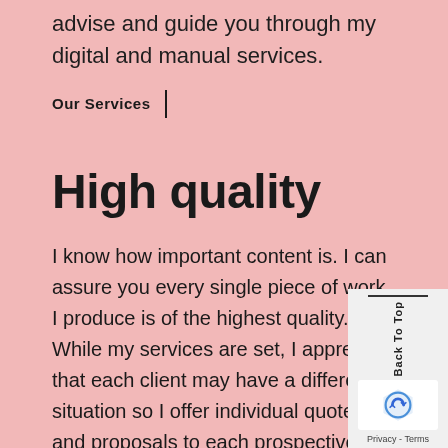advise and guide you through my digital and manual services.
Our Services
High quality
I know how important content is. I can assure you every single piece of work I produce is of the highest quality. While my services are set, I appreciate that each client may have a different situation so I offer individual quotes and proposals to each prospective client.
Back To Top  Privacy - Terms